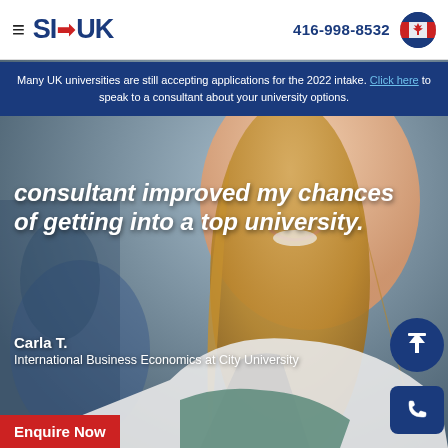≡ SI-UK  416-998-8532
Many UK universities are still accepting applications for the 2022 intake. Click here to speak to a consultant about your university options.
[Figure (photo): Young smiling woman with long blonde hair in a blurred campus/classroom background, wearing a white jacket over a teal top]
consultant improved my chances of getting into a top university.
Carla T.
International Business Economics at City University
Enquire Now